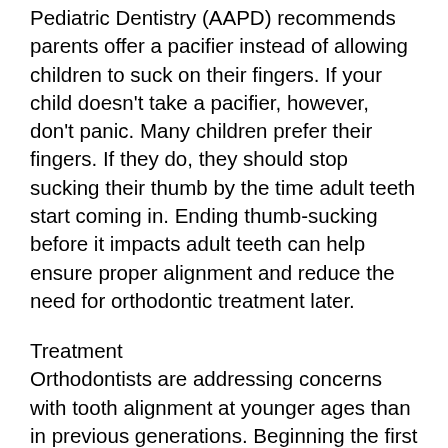Pediatric Dentistry (AAPD) recommends parents offer a pacifier instead of allowing children to suck on their fingers. If your child doesn't take a pacifier, however, don't panic. Many children prefer their fingers. If they do, they should stop sucking their thumb by the time adult teeth start coming in. Ending thumb-sucking before it impacts adult teeth can help ensure proper alignment and reduce the need for orthodontic treatment later.
Treatment
Orthodontists are addressing concerns with tooth alignment at younger ages than in previous generations. Beginning the first phases of orthodontic treatment while children are still growing allows them to guide the growth of the hard palate and placement of new adult teeth. If